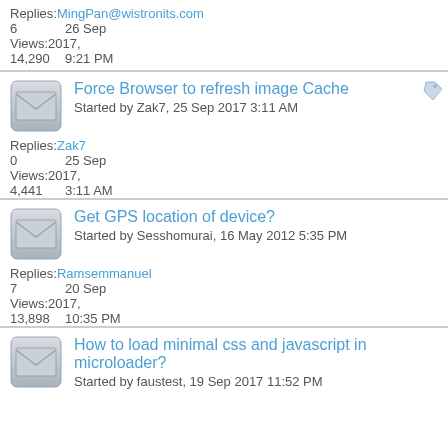Replies: MingPan@wistronits.com
6  26 Sep
Views: 2017,
14,290 9:21 PM
Force Browser to refresh image Cache
Started by Zak7, 25 Sep 2017 3:11 AM
Replies: Zak7
0  25 Sep
Views: 2017,
4,441  3:11 AM
Get GPS location of device?
Started by Sesshomurai, 16 May 2012 5:35 PM
Replies: Ramsemmanuel
7  20 Sep
Views: 2017,
13,898 10:35 PM
How to load minimal css and javascript in microloader?
Started by faustest, 19 Sep 2017 11:52 PM